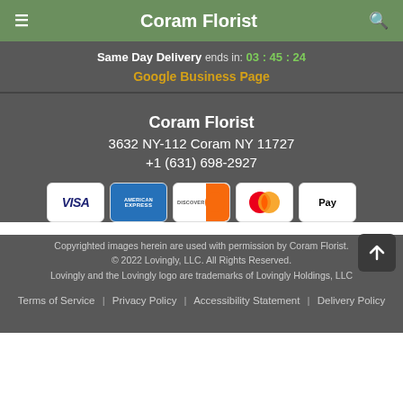Coram Florist
Same Day Delivery ends in: 03 : 45 : 24
Google Business Page
Coram Florist
3632 NY-112 Coram NY 11727
+1 (631) 698-2927
[Figure (other): Payment method icons: Visa, American Express, Discover, Mastercard, Apple Pay]
Copyrighted images herein are used with permission by Coram Florist. © 2022 Lovingly, LLC. All Rights Reserved. Lovingly and the Lovingly logo are trademarks of Lovingly Holdings, LLC
Terms of Service | Privacy Policy | Accessibility Statement | Delivery Policy